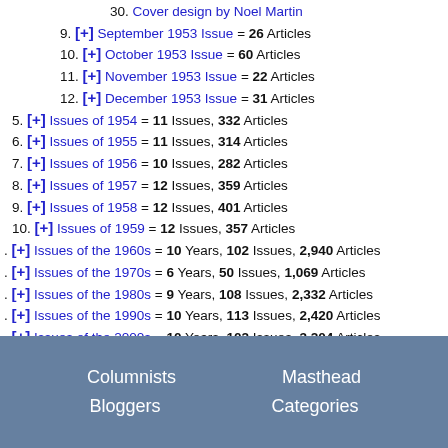30. Cover design by Noel Martin
9. [+] September 1953 Issue = 26 Articles
10. [+] October 1953 Issue = 60 Articles
11. [+] November 1953 Issue = 22 Articles
12. [+] December 1953 Issue = 31 Articles
5. [+] Issues of 1954 = 11 Issues, 332 Articles
6. [+] Issues of 1955 = 11 Issues, 314 Articles
7. [+] Issues of 1956 = 10 Issues, 282 Articles
8. [+] Issues of 1957 = 12 Issues, 359 Articles
9. [+] Issues of 1958 = 12 Issues, 401 Articles
10. [+] Issues of 1959 = 12 Issues, 357 Articles
. [+] Issues of the 1960s = 10 Years, 102 Issues, 2,940 Articles
. [+] Issues of the 1970s = 6 Years, 50 Issues, 1,069 Articles
. [+] Issues of the 1980s = 9 Years, 108 Issues, 2,332 Articles
. [+] Issues of the 1990s = 10 Years, 113 Issues, 2,420 Articles
. [+] Issues of the 2000s = 10 Years, 102 Issues, 3,204 Articles
. [+] Issues of the 2010s = 1 Year, 1 Issue, 22 Articles
Columnists   Masthead   Bloggers   Categories